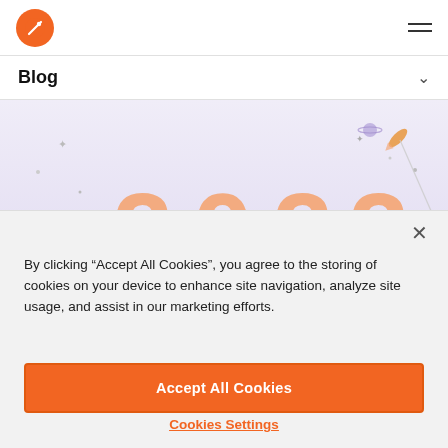Blog
[Figure (illustration): Decorative blog post header illustration showing the year 2022 in large orange numerals with a rocket and stars on a purple/lavender gradient background]
By clicking “Accept All Cookies”, you agree to the storing of cookies on your device to enhance site navigation, analyze site usage, and assist in our marketing efforts.
Accept All Cookies
Cookies Settings